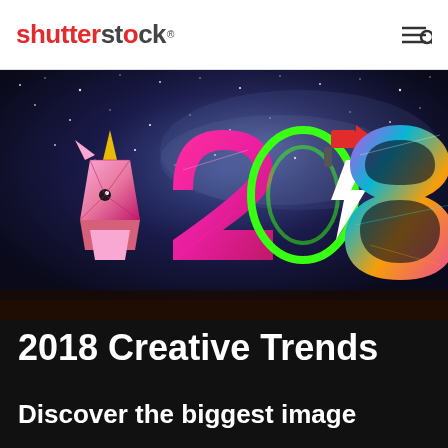shutterstock®
[Figure (illustration): Hero image showing '2018' text in colorful stylized letters against a dark starry night sky background. The '2' is magenta/pink geometric, '0' is neon green outlined circle, '1' is replaced by a lightning bolt icon with a megaphone, '8' is holographic/iridescent. A pink geometric unicorn head appears to the left.]
2018 Creative Trends
Discover the biggest image